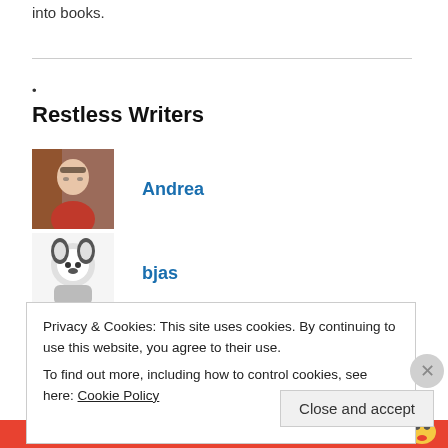into books.
•
Restless Writers
[Figure (illustration): Avatar photo of Andrea - woman with glasses in front of brick wall]
Andrea
[Figure (illustration): Avatar illustration of bjas - cartoon husky/dog character]
bjas
[Figure (photo): Avatar photo of Sharon - woman with dark hair]
Sharon
[Figure (photo): Avatar photo of Maria - woman with red/auburn hair]
Maria
Privacy & Cookies: This site uses cookies. By continuing to use this website, you agree to their use.
To find out more, including how to control cookies, see here: Cookie Policy
Close and accept
email with more privacy.